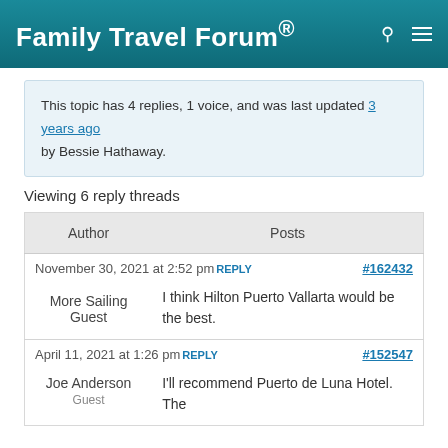Family Travel Forum®
This topic has 4 replies, 1 voice, and was last updated 3 years ago by Bessie Hathaway.
Viewing 6 reply threads
| Author | Posts |
| --- | --- |
| November 30, 2021 at 2:52 pm REPLY | #162432 |
| More Sailing Guest | I think Hilton Puerto Vallarta would be the best. |
| April 11, 2021 at 1:26 pm REPLY | #152547 |
| Joe Anderson Guest | I'll recommend Puerto de Luna Hotel. The |